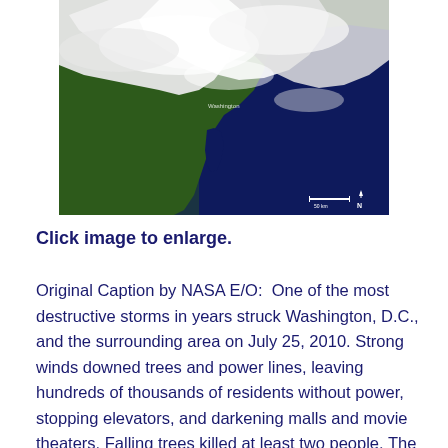[Figure (photo): Satellite image showing the northeastern United States coastline with a large storm system visible as white cloud cover over the region. The Atlantic Ocean appears dark blue to the right. A scale bar and north arrow are visible in the lower right corner. The label 'Washington' is faintly visible near the center of the image.]
Click image to enlarge.
Original Caption by NASA E/O:  One of the most destructive storms in years struck Washington, D.C., and the surrounding area on July 25, 2010. Strong winds downed trees and power lines, leaving hundreds of thousands of residents without power, stopping elevators, and darkening malls and movie theaters. Falling trees killed at least two people. The following morning, crows